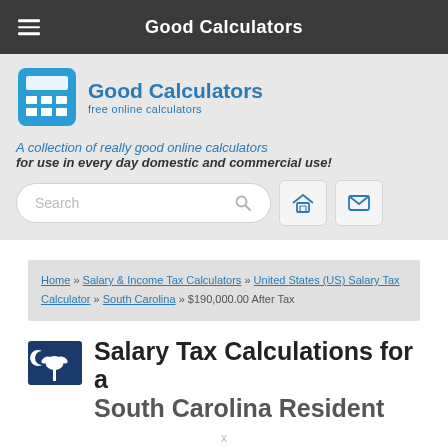Good Calculators
[Figure (logo): Good Calculators logo with calculator icon and text 'Good Calculators - free online calculators']
A collection of really good online calculators for use in every day domestic and commercial use!
Search
Home » Salary & Income Tax Calculators » United States (US) Salary Tax Calculator » South Carolina » $190,000.00 After Tax
Salary Tax Calculations for a South Carolina Resident